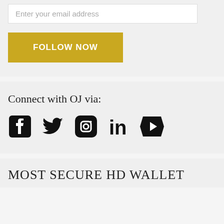Enter your email address
FOLLOW NOW
Connect with OJ via:
[Figure (illustration): Social media icons: Facebook, Twitter, Instagram, LinkedIn, YouTube]
MOST SECURE HD WALLET